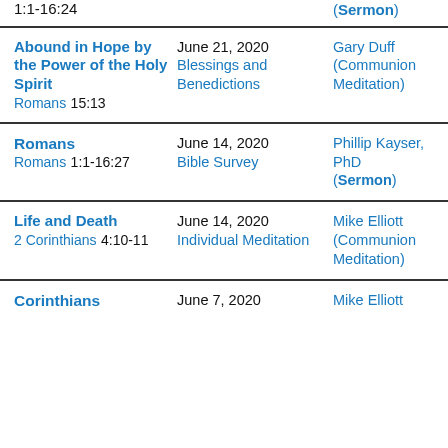| Title / Scripture | Date / Category | Speaker / Type |
| --- | --- | --- |
| 2 Corinthians 1:1-16:24 |  | (Sermon) |
| Abound in Hope by the Power of the Holy Spirit
Romans 15:13 | June 21, 2020
Blessings and Benedictions | Gary Duff
(Communion Meditation) |
| Romans
Romans 1:1-16:27 | June 14, 2020
Bible Survey | Phillip Kayser, PhD
(Sermon) |
| Life and Death
2 Corinthians 4:10-11 | June 14, 2020
Individual Meditation | Mike Elliott
(Communion Meditation) |
| Corinthians | June 7, 2020 | Mike Elliott |